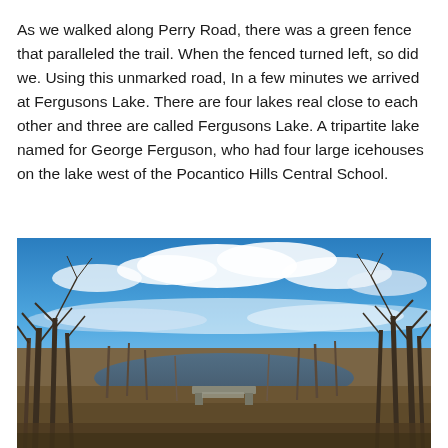As we walked along Perry Road, there was a green fence that paralleled the trail. When the fenced turned left, so did we. Using this unmarked road, In a few minutes we arrived at Fergusons Lake. There are four lakes real close to each other and three are called Fergusons Lake. A tripartite lake named for George Ferguson, who had four large icehouses on the lake west of the Pocantico Hills Central School.
[Figure (photo): Outdoor nature photograph of Fergusons Lake in winter/early spring. Bare deciduous trees frame the scene on left and right. A dramatic blue sky with large white clouds fills the upper half. In the middle ground, a small concrete dam or spillway structure is visible near a calm body of water. Brown leaf-covered ground and bare grey tree trunks surround the water area.]